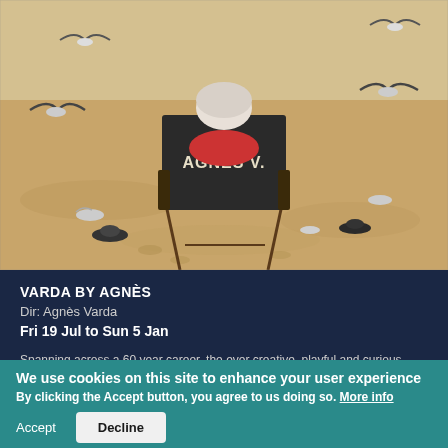[Figure (photo): A person with short white/grey hair sitting in a director's chair labeled 'AGNES V.' on a sandy beach, surrounded by seagulls. View is from behind. The person wears a red top. Sandy beach and birds in the background.]
VARDA BY AGNÈS
Dir: Agnès Varda
Fri 19 Jul to Sun 5 Jan
Spanning across a 60 year career, the ever creative, playful and curious queen of French New Wave reflects on her body of work in Varda by Agnès.
MORE INFO »
We use cookies on this site to enhance your user experience
By clicking the Accept button, you agree to us doing so. More info
Accept
Decline